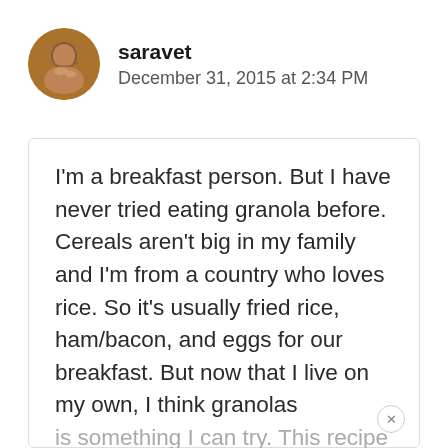saravet
December 31, 2015 at 2:34 PM
I'm a breakfast person. But I have never tried eating granola before. Cereals aren't big in my family and I'm from a country who loves rice. So it's usually fried rice, ham/bacon, and eggs for our breakfast. But now that I live on my own, I think granolas is something I can try. This recipe just might be something